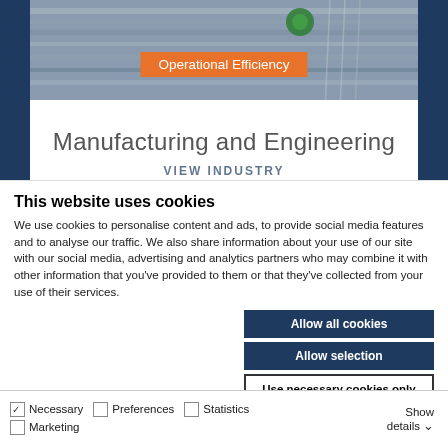[Figure (photo): Industrial manufacturing machinery with metal components and green elements, dark blue sidebar panels surrounding a white center area with orange label]
Operational Efficiency
Manufacturing and Engineering
VIEW INDUSTRY
This website uses cookies
We use cookies to personalise content and ads, to provide social media features and to analyse our traffic. We also share information about your use of our site with our social media, advertising and analytics partners who may combine it with other information that you've provided to them or that they've collected from your use of their services.
Allow all cookies
Allow selection
Use necessary cookies only
Necessary  Preferences  Statistics  Marketing  Show details